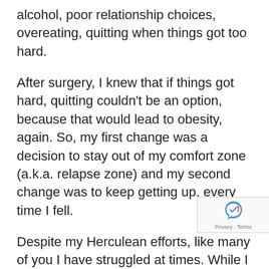alcohol, poor relationship choices, overeating, quitting when things got too hard.
After surgery, I knew that if things got hard, quitting couldn't be an option, because that would lead to obesity, again. So, my first change was a decision to stay out of my comfort zone (a.k.a. relapse zone) and my second change was to keep getting up, every time I fell.
Despite my Herculean efforts, like many of you I have struggled at times. While I have kept most of my weight off, I have had regain from time to time, and sometimes it's been quite scary.